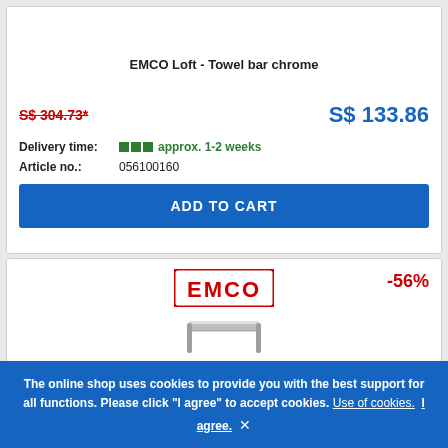EMCO Loft - Towel bar chrome
S$ 304.73*
S$ 133.86
Delivery time: approx. 1-2 weeks
Article no.: 056100160
ADD TO CART
[Figure (logo): EMCO brand logo in red with bold blocky letters]
-56%
The online shop uses cookies to provide you with the best support for all functions. Please click "I agree" to accept cookies. Use of cookies. I agree. ×